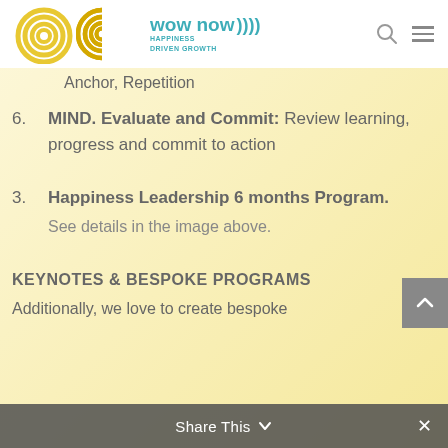wow now HAPPINESS DRIVEN GROWTH
Anchor, Repetition
6. MIND. Evaluate and Commit: Review learning, progress and commit to action
3. Happiness Leadership 6 months Program. See details in the image above.
KEYNOTES & BESPOKE PROGRAMS
Additionally, we love to create bespoke